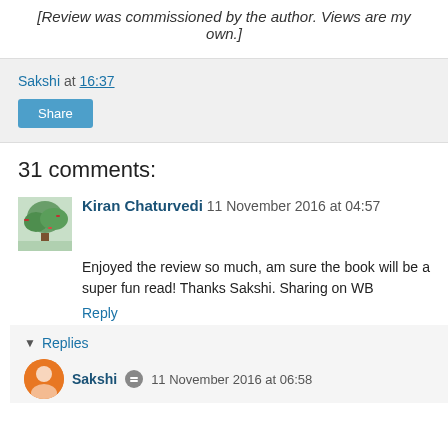[Review was commissioned by the author. Views are my own.]
Sakshi at 16:37
Share
31 comments:
Kiran Chaturvedi 11 November 2016 at 04:57
Enjoyed the review so much, am sure the book will be a super fun read! Thanks Sakshi. Sharing on WB
Reply
Replies
Sakshi 11 November 2016 at 06:58